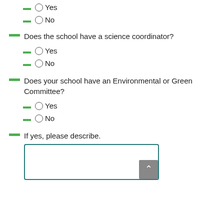○Yes
○No
Does the school have a science coordinator?
○Yes
○No
Does your school have an Environmental or Green Committee?
○Yes
○No
If yes, please describe.